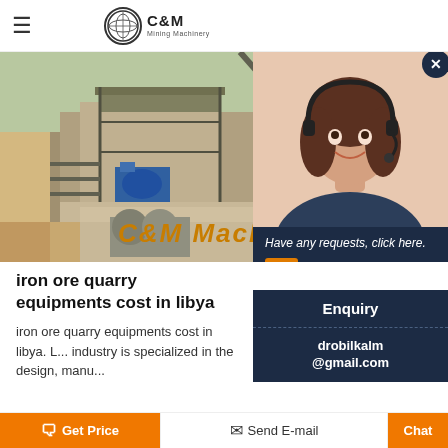C&M Mining Machinery
[Figure (photo): Mining/quarry equipment facility with crusher machinery, concrete structures, industrial equipment, and text 'C&M Mach' overlaid in golden italic font]
[Figure (photo): Chat popup overlay showing a female customer service agent wearing a headset, smiling, with message 'Have any requests, click here.' and a Quick button, Enquiry section, and email drobilkalm@gmail.com]
iron ore quarry equipments cost in libya
iron ore quarry equipments cost in libya. L... industry is specialized in the design, manu...
Get Price | Send E-mail | Chat